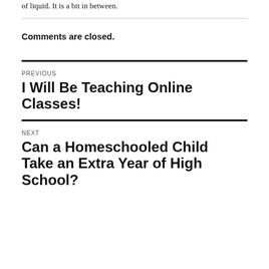of liquid. It is a bit in between.
Comments are closed.
PREVIOUS
I Will Be Teaching Online Classes!
NEXT
Can a Homeschooled Child Take an Extra Year of High School?